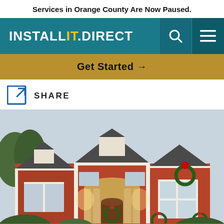Services in Orange County Are Now Paused.
[Figure (logo): Install It Direct logo with teal navigation bar, search icon, and hamburger menu icon]
Get Started →
SHARE
[Figure (photo): Large brick house decorated with Christmas wreaths and holiday lights on the entrance pillars and front facade]